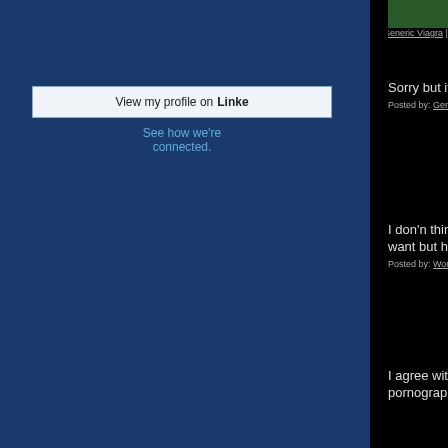[Figure (screenshot): LinkedIn profile button widget with 'View my profile on Linke' text and 'See how we're connected' link below, on dark blue sidebar background]
Sorry but it seems a silly waste of time
Posted by: Generic Viagra Online | August 28, 20...
I don'n think porn is the heaven!!!!And... want but here!!!!
Posted by: Women Smoking Cigars | September ...
I agree with that disseminate informat... pornography.
Posted by: Generic Drugs | September 28, 2009 ...
First of all, Viagra is a famous drug wh... sexual problems.
Posted by: Felix | October 05, 2009 at 05:20 AM
Come one, porn isn't heaven, porn is...